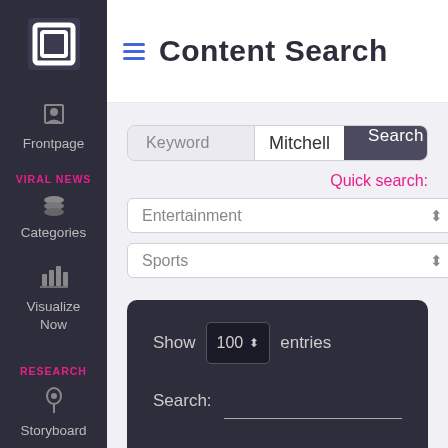[Figure (logo): White square bracket logo icon on dark sidebar]
Frontpage
VIRAL NEWS
Categories
Visualize Now
RESEARCH
Storyboard
Content Search
Keyword   Mitchell   Search
Quick search:
Entertainment
Sports
Show 100 entries
Search: